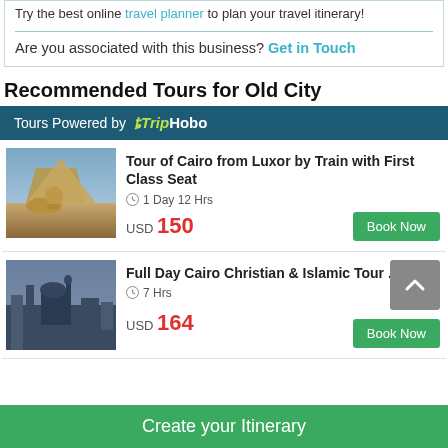Try the best online travel planner to plan your travel itinerary!
Are you associated with this business? Get in Touch
Recommended Tours for Old City
Tours Powered by TripHobo
Tour of Cairo from Luxor by Train with First Class Seat
1 Day 12 Hrs
USD 150
Book Now
Full Day Cairo Christian & Islamic Tour ...
7 Hrs
USD 164
Book Now
Create your Itinerary